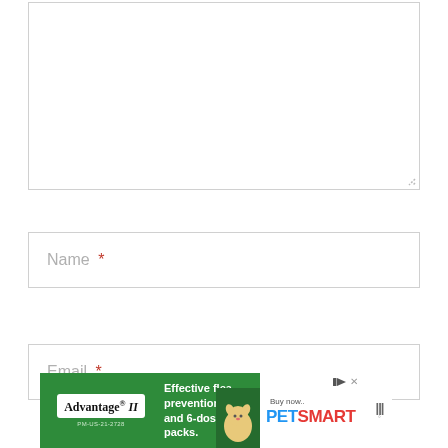[Figure (screenshot): Comment textarea input box (empty), with resize handle at bottom-right corner]
Name *
Email *
[Figure (infographic): Advertisement banner for Advantage II flea prevention featuring Petsmart. Green background with white Advantage II logo box, text 'Effective flea prevention in 2, 4 and 6-dose packs.', cat image, PetSmart logo, Buy Now button, PM-US-21-2728 reference, and close/audio controls.]